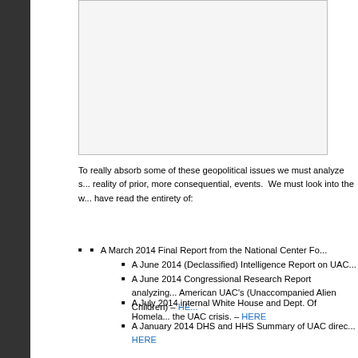[Figure (other): Partially visible image or chart at top of page, inside a bordered box]
To really absorb some of these geopolitical issues we must analyze s... reality of prior, more consequential, events. We must look into the w... have read the entirety of:
A March 2014 Final Report from the National Center Fo...
A June 2014 (Declassified) Intelligence Report on UAC...
A June 2014 Congressional Research Report analyzing... American UAC's (Unaccompanied Alien Children) – HERE
A July 2014 internal White House and Dept. Of Homela... the UAC crisis. – HERE
A January 2014 DHS and HHS Summary of UAC direc... HERE
Because these reports are so critical to the full understanding we hav... entirety near the end of the timeline: